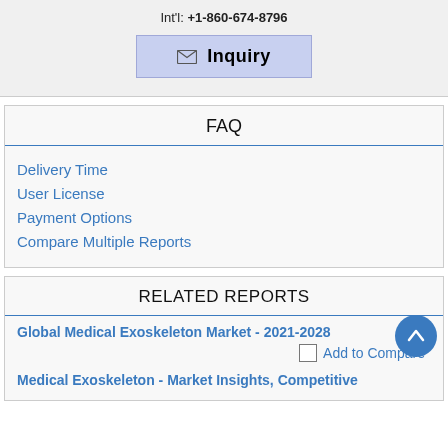Int'l: +1-860-674-8796
[Figure (other): Inquiry button with envelope icon]
FAQ
Delivery Time
User License
Payment Options
Compare Multiple Reports
RELATED REPORTS
Global Medical Exoskeleton Market - 2021-2028
Add to Compare
Medical Exoskeleton - Market Insights, Competitive